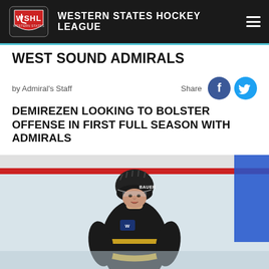WESTERN STATES HOCKEY LEAGUE
WEST SOUND ADMIRALS
by Admiral's Staff
Share
DEMIREZEN LOOKING TO BOLSTER OFFENSE IN FIRST FULL SEASON WITH ADMIRALS
[Figure (photo): Hockey player wearing black Bauer helmet and black jersey with gold trim on ice rink. The player is looking to the side with the rink boards visible in the background including a blue panel.]